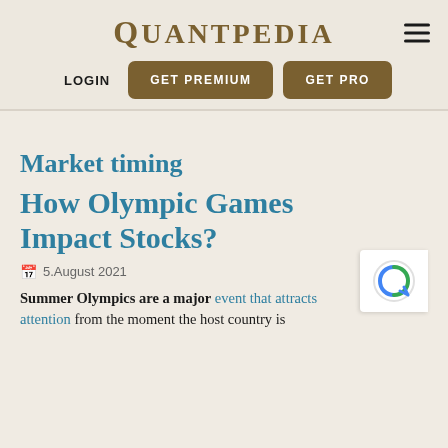QUANTPEDIA
LOGIN | GET PREMIUM | GET PRO
Market timing
How Olympic Games Impact Stocks?
5.August 2021
Summer Olympics are a major event that attracts attention from the moment the host country is